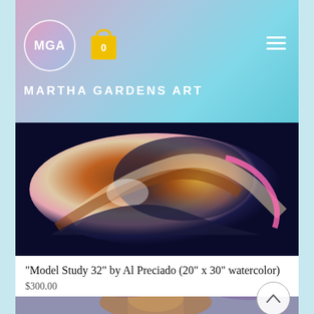[Figure (screenshot): Martha Gardens Art website header with MGA logo circle, shopping bag with 0, hamburger menu icon, and brand name 'MARTHA GARDENS ART' on gradient background]
[Figure (photo): Abstract colorful painting - Model Study 32 by Al Preciado, showing reclining figure in watercolor, brown, white, pink and blue tones]
"Model Study 32" by Al Preciado (20" x 30" watercolor)
$300.00
[Figure (photo): Second artwork - portrait painting of a woman with long auburn hair against purple background, colorful expressionist style]